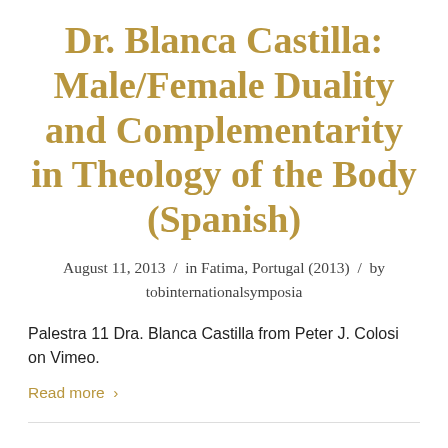Dr. Blanca Castilla: Male/Female Duality and Complementarity in Theology of the Body (Spanish)
August 11, 2013  /  in Fatima, Portugal (2013)  /  by tobinternationalsymposia
Palestra 11 Dra. Blanca Castilla from Peter J. Colosi on Vimeo.
Read more  ›